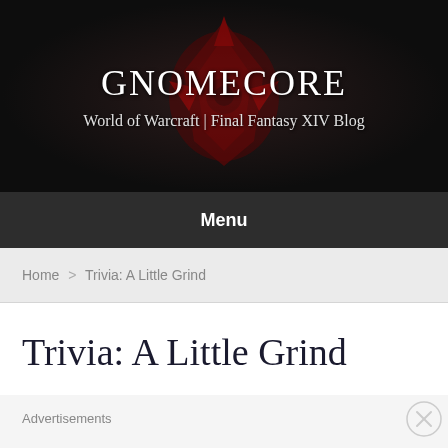GNOMECORE
World of Warcraft | Final Fantasy XIV Blog
Menu
Home > Trivia: A Little Grind
Trivia: A Little Grind
Advertisements
REPORT THIS AD